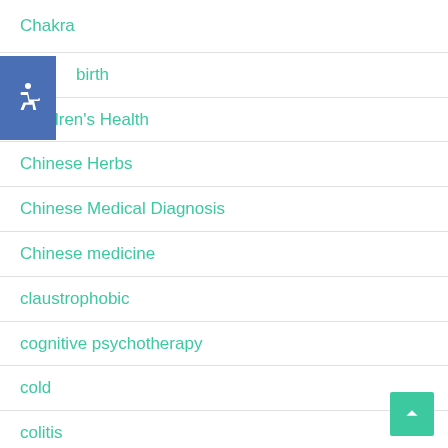Chakra
birth
Children's Health
Chinese Herbs
Chinese Medical Diagnosis
Chinese medicine
claustrophobic
cognitive psychotherapy
cold
colitis
Consultations
Corvalen